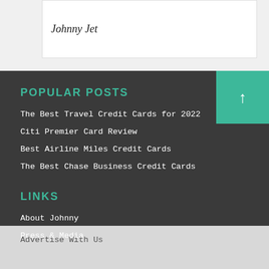Johnny Jet
POPULAR POSTS
The Best Travel Credit Cards for 2022
Citi Premier Card Review
Best Airline Miles Credit Cards
The Best Chase Business Credit Cards
LINKS
About Johnny
Press & Media
Advertise With Us